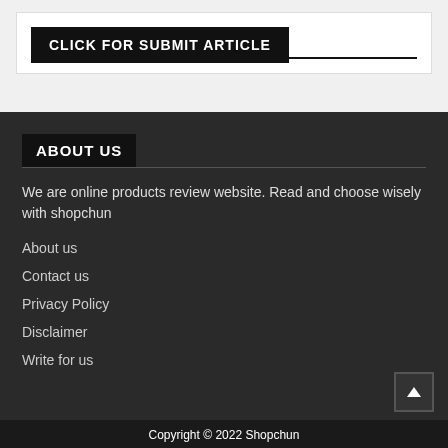CLICK FOR SUBMIT ARTICLE
ABOUT US
We are online products review website. Read and choose wisely with shopchun
About us
Contact us
Privacy Policy
Disclaimer
Write for us
Copyright © 2022 Shopchun